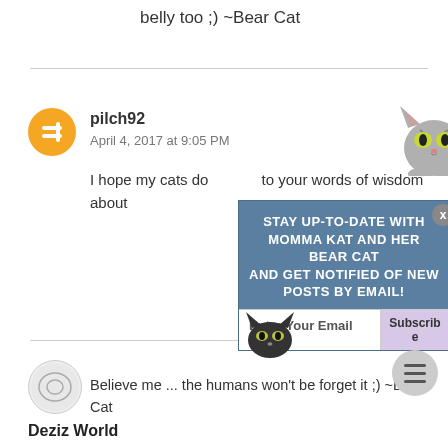belly too ;) ~Bear Cat
pilch92
April 4, 2017 at 9:05 PM
I hope my cats do ... to your words of wisdom about
[Figure (infographic): Popup overlay with cat illustration and text: STAY UP-TO-DATE WITH MOMMA KAT AND HER BEAR CAT AND GET NOTIFIED OF NEW POSTS BY EMAIL! with email input and Subscribe button. A gray tabby cat peeks over the top of the popup. A small black cat face appears in the bottom-left corner of the popup.]
Believe me ... the humans won't be forget it ;) ~Bear Cat
Deziz World